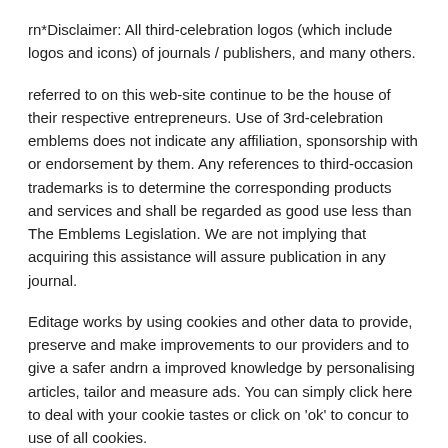rn*Disclaimer: All third-celebration logos (which include logos and icons) of journals / publishers, and many others.
referred to on this web-site continue to be the house of their respective entrepreneurs. Use of 3rd-celebration emblems does not indicate any affiliation, sponsorship with or endorsement by them. Any references to third-occasion trademarks is to determine the corresponding products and services and shall be regarded as good use less than The Emblems Legislation. We are not implying that acquiring this assistance will assure publication in any journal.
Editage works by using cookies and other data to provide, preserve and make improvements to our providers and to give a safer andrn a improved knowledge by personalising articles, tailor and measure ads. You can simply click here to deal with your cookie tastes or click on 'ok' to concur to use of all cookies.
rn Master much more about cookie employs and controls in our Cookie PolicyrnCookies are smaller piece of information